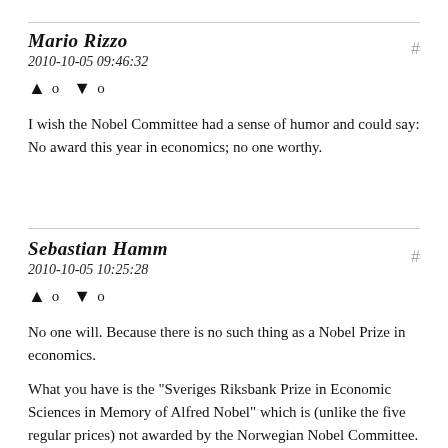Mario Rizzo
2010-10-05 09:46:32
▲ 0 ▼ 0
I wish the Nobel Committee had a sense of humor and could say: No award this year in economics; no one worthy.
Sebastian Hamm
2010-10-05 10:25:28
▲ 0 ▼ 0
No one will. Because there is no such thing as a Nobel Prize in economics.
What you have is the "Sveriges Riksbank Prize in Economic Sciences in Memory of Alfred Nobel" which is (unlike the five regular prices) not awarded by the Norwegian Nobel Committee.